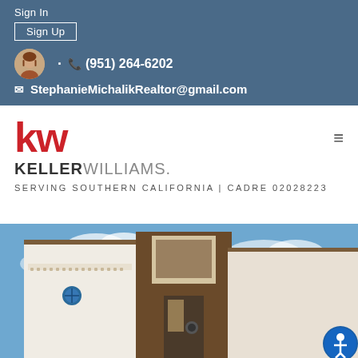Sign In
Sign Up
(951) 264-6202
StephanieMichalikRealtor@gmail.com
[Figure (logo): Keller Williams logo with red KW letters and gray KELLERWILLIAMS. text below]
SERVING SOUTHERN CALIFORNIA | CADRE 02028223
[Figure (photo): Exterior photo of a white Spanish-style multi-story building with blue sky in background]